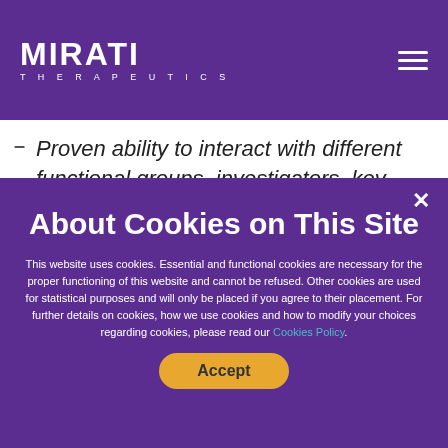MIRATI THERAPEUTICS
Proven ability to interact with different functional groups, investigators, key opinion leaders and the medical/scientific community
About Cookies on This Site
This website uses cookies. Essential and functional cookies are necessary for the proper functioning of this website and cannot be refused. Other cookies are used for statistical purposes and will only be placed if you agree to their placement. For further details on cookies, how we use cookies and how to modify your choices regarding cookies, please read our Cookies Policy.
Accept